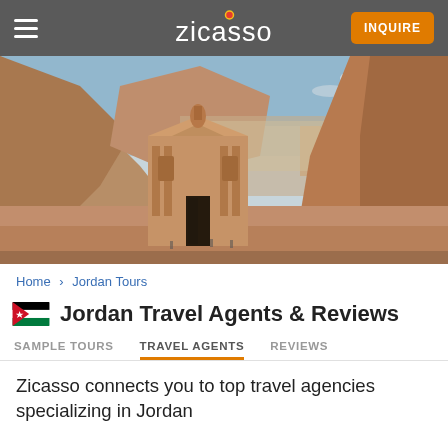zicasso | INQUIRE
[Figure (photo): Panoramic view of Petra, Jordan, showing the ancient rock-carved Treasury (Al-Khazneh) nestled between reddish sandstone cliffs under a clear blue sky.]
Home › Jordan Tours
Jordan Travel Agents & Reviews
SAMPLE TOURS   TRAVEL AGENTS   REVIEWS
Zicasso connects you to top travel agencies specializing in Jordan